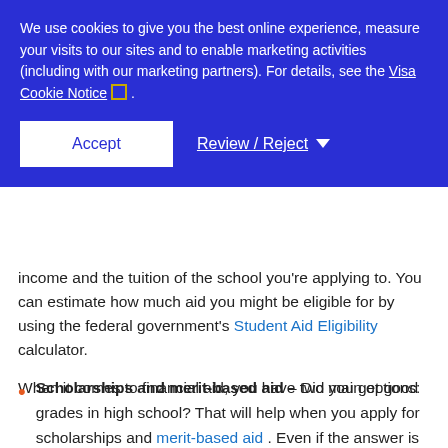We use cookies to give you the best online experience, measure your visits to our sites and to enable marketing activities (including with our marketing partners). For details, see the Visa Cookie Notice .
Accept
Review / Reject
income and the tuition of the school you're applying to. You can estimate how much aid you might be eligible for by using the federal government's Student Aid Eligibility calculator.
When it comes to financial aid, you have two main options:
Scholarships and merit-based aid – Did you get good grades in high school? That will help when you apply for scholarships and merit-based aid . Even if the answer is no, there are still plenty of opportunities — you'd be amazed at the sheer variety of scholarships out there. Do your research — there's money waiting for you depending on